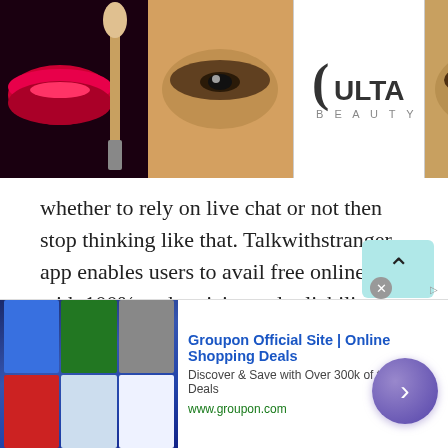[Figure (screenshot): Top advertisement banner for ULTA Beauty showing makeup images and 'SHOP NOW' call to action with a close button.]
whether to rely on live chat or not then stop thinking like that. Talkwithstranger app enables users to avail free online chat with 100% authenticity and reliability.
What do you think isn't fun to start a live chat and talk to strangers in Guadeloupe ? Well, absolutely it is great fun to talk to strangers in Guadeloupe without going anywhere. All you need your phone, a good internet connection and of course your
[Figure (screenshot): Bottom advertisement for Groupon Official Site | Online Shopping Deals with text 'Discover & Save with Over 300k of the Best Deals' and URL www.groupon.com, with navigation arrow button.]